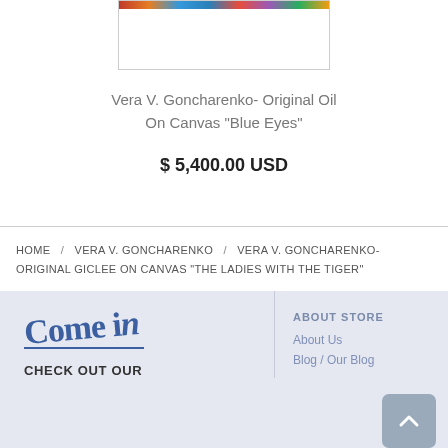[Figure (photo): Partial view of a colorful painting thumbnail at the top of the page]
Vera V. Goncharenko- Original Oil On Canvas "Blue Eyes"
$ 5,400.00 USD
HOME / VERA V. GONCHARENKO / VERA V. GONCHARENKO- ORIGINAL GICLEE ON CANVAS "THE LADIES WITH THE TIGER"
[Figure (logo): Come in cursive logo in blue]
CHECK OUT OUR
ABOUT STORE
About Us
Blog / Our Blog